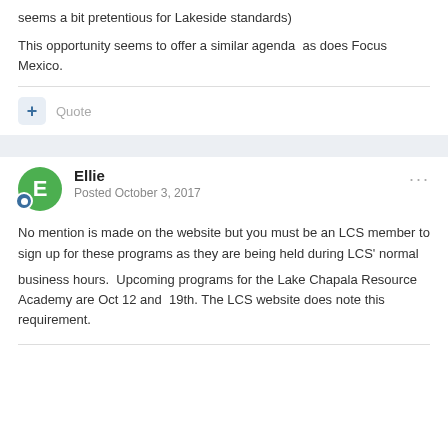seems a bit pretentious for Lakeside standards)
This opportunity seems to offer a similar agenda  as does Focus Mexico.
Quote
Ellie
Posted October 3, 2017
No mention is made on the website but you must be an LCS member to sign up for these programs as they are being held during LCS' normal
business hours.  Upcoming programs for the Lake Chapala Resource Academy are Oct 12 and  19th. The LCS website does note this requirement.